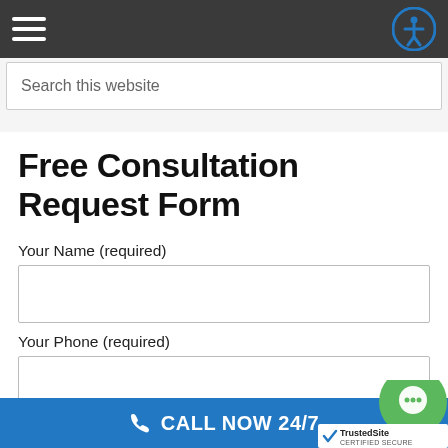Search this website
Free Consultation Request Form
Your Name (required)
Your Phone (required)
Your Email (required)
CALL NOW 24/7